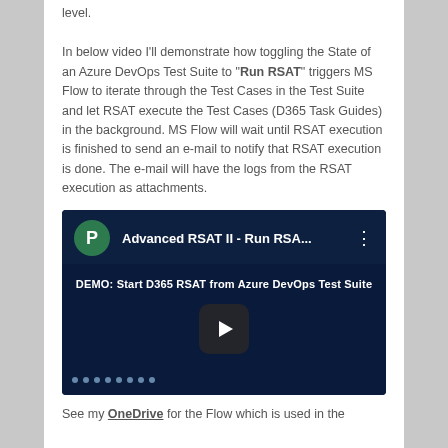level.
In below video I'll demonstrate how toggling the State of an Azure DevOps Test Suite to "Run RSAT" triggers MS Flow to iterate through the Test Cases in the Test Suite and let RSAT execute the Test Cases (D365 Task Guides) in the background. MS Flow will wait until RSAT execution is finished to send an e-mail to notify that RSAT execution is done. The e-mail will have the logs from the RSAT execution as attachments.
[Figure (screenshot): Video thumbnail for 'Advanced RSAT II - Run RSA...' showing a dark navy background with a play button in the center. Text reads 'DEMO: Start D365 RSAT from Azure DevOps Test Suite'. A green circle avatar with 'P' is shown in the top left, and a three-dot menu icon is in the top right.]
See my OneDrive for the Flow which is used in the